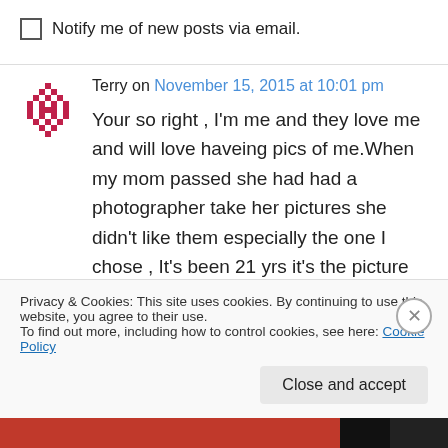Notify me of new posts via email.
Terry on November 15, 2015 at 10:01 pm
Your so right , I'm me and they love me and will love haveing pics of me.When my mom passed she had had a photographer take her pictures she didn't like them especially the one I chose , It's been 21 yrs it's the picture ony notes tandom that I say good nite and good morning to. It's the
Privacy & Cookies: This site uses cookies. By continuing to use this website, you agree to their use.
To find out more, including how to control cookies, see here: Cookie Policy
Close and accept